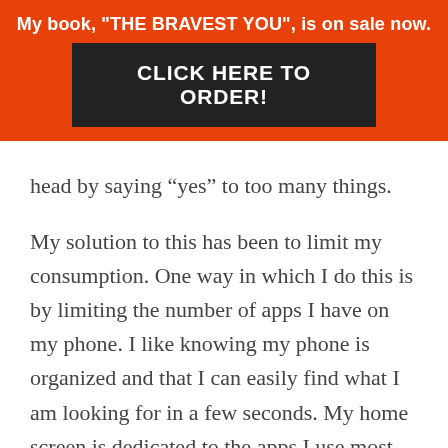My book, "THE BRAVEST YOU", is on sale now.
CLICK HERE TO ORDER!
head by saying “yes” to too many things. My solution to this has been to limit my consumption. One way in which I do this is by limiting the number of apps I have on my phone. I like knowing my phone is organized and that I can easily find what I am looking for in a few seconds. My home screen is dedicated to the apps I use most. As you can see below I have my most used in the top row – Messages, Bible, Google Maps, Camera. Below that I have